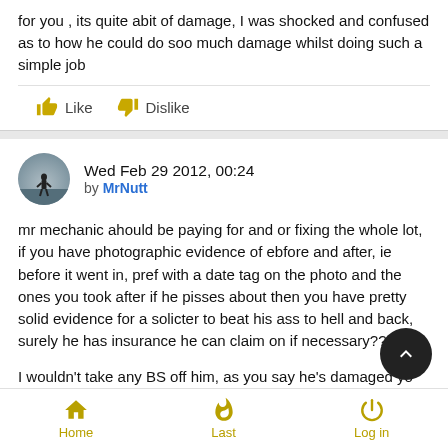for you , its quite abit of damage, I was shocked and confused as to how he could do soo much damage whilst doing such a simple job
Like   Dislike
Wed Feb 29 2012, 00:24 by MrNutt
mr mechanic ahould be paying for and or fixing the whole lot, if you have photographic evidence of ebfore and after, ie before it went in, pref with a date tag on the photo and the ones you took after if he pisses about then you have pretty solid evidence for a solicter to beat his ass to hell and back, surely he has insurance he can claim on if necessary??
I wouldn't take any BS off him, as you say he's damaged yo baby your pride and joy, if he has damaged it he should have to
Home   Last   Log in